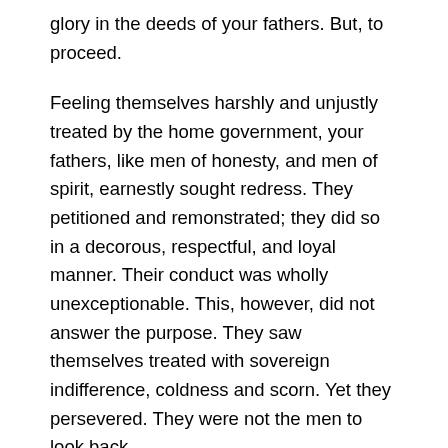glory in the deeds of your fathers. But, to proceed.
Feeling themselves harshly and unjustly treated by the home government, your fathers, like men of honesty, and men of spirit, earnestly sought redress. They petitioned and remonstrated; they did so in a decorous, respectful, and loyal manner. Their conduct was wholly unexceptionable. This, however, did not answer the purpose. They saw themselves treated with sovereign indifference, coldness and scorn. Yet they persevered. They were not the men to look back.
As the sheet anchor takes a firmer hold, when the ship is tossed by the storm, so did the cause of your fathers grow stronger, as it breasted the chilling blasts of kingly displeasure. The greatest and best of British statesmen admitted its justice, and the loftiest